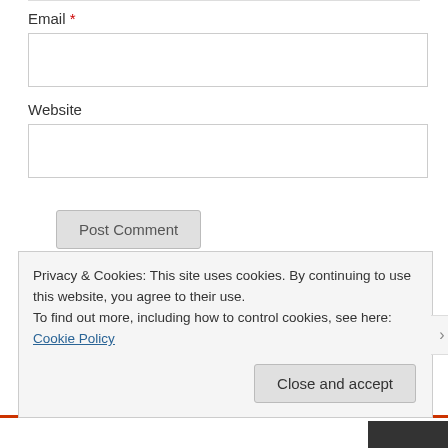Email *
Website
Post Comment
Notify me of new comments via email.
Notify me of new posts via email.
This site uses Akismet to reduce spam. Learn how your
Privacy & Cookies: This site uses cookies. By continuing to use this website, you agree to their use.
To find out more, including how to control cookies, see here: Cookie Policy
Close and accept